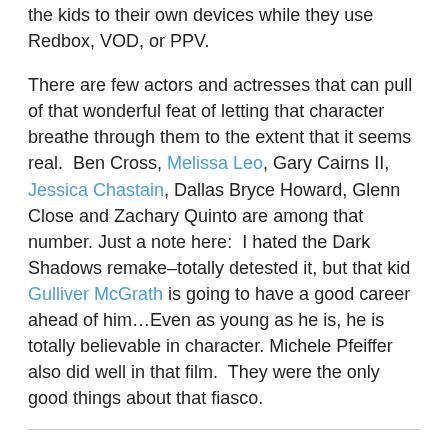the kids to their own devices while they use Redbox, VOD, or PPV.
There are few actors and actresses that can pull of that wonderful feat of letting that character breathe through them to the extent that it seems real.  Ben Cross, Melissa Leo, Gary Cairns II, Jessica Chastain, Dallas Bryce Howard, Glenn Close and Zachary Quinto are among that number. Just a note here:  I hated the Dark Shadows remake–totally detested it, but that kid Gulliver McGrath is going to have a good career ahead of him…Even as young as he is, he is totally believable in character. Michele Pfeiffer also did well in that film.  They were the only good things about that fiasco.
Share this: